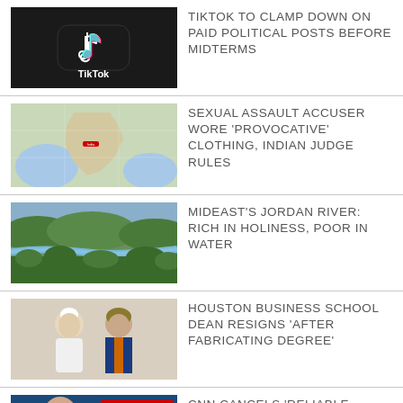[Figure (photo): TikTok logo on a black background]
TIKTOK TO CLAMP DOWN ON PAID POLITICAL POSTS BEFORE MIDTERMS
[Figure (map): Map of India highlighted in red]
SEXUAL ASSAULT ACCUSER WORE 'PROVOCATIVE' CLOTHING, INDIAN JUDGE RULES
[Figure (photo): Aerial view of Jordan River with green vegetation]
MIDEAST'S JORDAN RIVER: RICH IN HOLINESS, POOR IN WATER
[Figure (photo): Two men in religious attire, one in papal white, one in Swiss Guard uniform]
HOUSTON BUSINESS SCHOOL DEAN RESIGNS 'AFTER FABRICATING DEGREE'
[Figure (photo): Man's face partially visible with CNN ERO text overlay]
CNN CANCELS 'RELIABLE SOURCES,' HOST STELTER LEAVING NETWORK